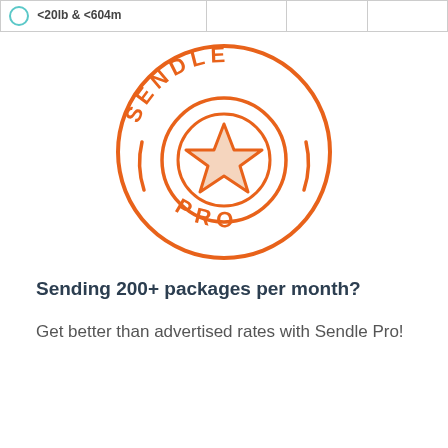| <20lb & <604m |  |  |  |
[Figure (logo): Sendle Pro badge/logo: orange circular stamp with 'SENDLE' text arched at top, 'PRO' text arched at bottom, concentric circles, and a star shape in the center circle.]
Sending 200+ packages per month?
Get better than advertised rates with Sendle Pro!